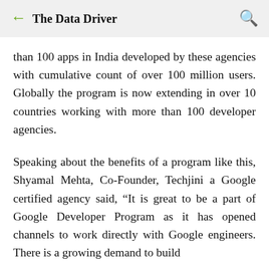The Data Driver
than 100 apps in India developed by these agencies with cumulative count of over 100 million users. Globally the program is now extending in over 10 countries working with more than 100 developer agencies.
Speaking about the benefits of a program like this, Shyamal Mehta, Co-Founder, Techjini a Google certified agency said, “It is great to be a part of Google Developer Program as it has opened channels to work directly with Google engineers. There is a growing demand to build